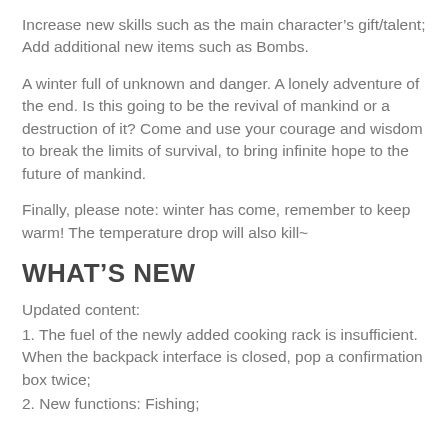Increase new skills such as the main character's gift/talent; Add additional new items such as Bombs.
A winter full of unknown and danger. A lonely adventure of the end. Is this going to be the revival of mankind or a destruction of it? Come and use your courage and wisdom to break the limits of survival, to bring infinite hope to the future of mankind.
Finally, please note: winter has come, remember to keep warm! The temperature drop will also kill~
WHAT'S NEW
Updated content:
1. The fuel of the newly added cooking rack is insufficient. When the backpack interface is closed, pop a confirmation box twice;
2. New functions: Fishing;